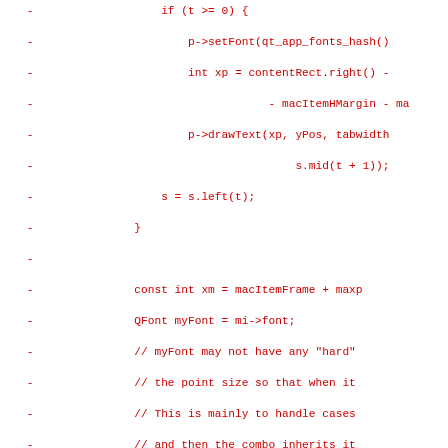Code diff showing removed lines (prefixed with -) containing C++ Qt menu rendering code